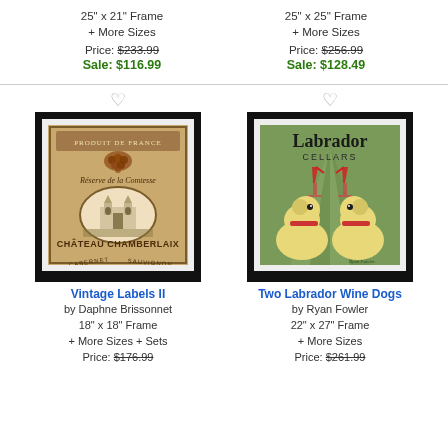25" x 21" Frame
+ More Sizes
25" x 25" Frame
+ More Sizes
Price: $233.99
Sale: $116.99
Price: $256.99
Sale: $128.49
[Figure (illustration): Framed art print: Vintage Labels II - wine label style illustration with Chateau Chamberlaix text, grapes, and chateau building]
Vintage Labels II
by Daphne Brissonnet
18" x 18" Frame
+ More Sizes + Sets
Price: $176.99
[Figure (illustration): Framed art print: Two Labrador Wine Dogs - two yellow labrador dogs holding wine glasses, vintage poster style with green background]
Two Labrador Wine Dogs
by Ryan Fowler
22" x 27" Frame
+ More Sizes
Price: $261.99